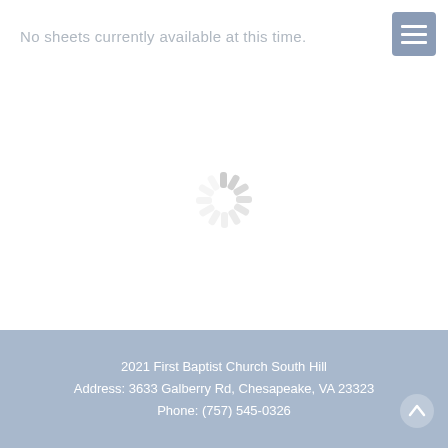No sheets currently available at this time.
[Figure (infographic): Loading spinner / activity indicator with radiating lines in light gray, centered on the page]
2021 First Baptist Church South Hill
Address: 3633 Galberry Rd, Chesapeake, VA 23323
Phone: (757) 545-0326